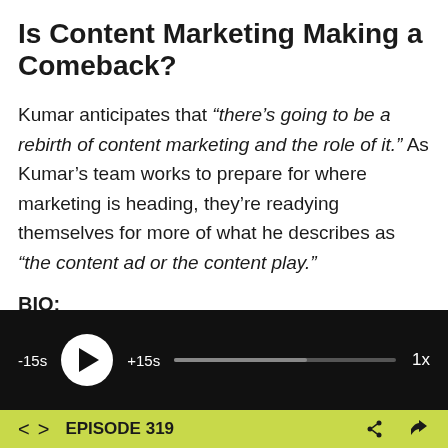Is Content Marketing Making a Comeback?
Kumar anticipates that “there’s going to be a rebirth of content marketing and the role of it.” As Kumar’s team works to prepare for where marketing is heading, they’re readying themselves for more of what he describes as “the content ad or the content play.”
BIO:
[Figure (screenshot): Podcast audio player with dark background showing -15s skip back, play button, +15s skip forward, progress bar, and 1x speed control]
EPISODE 319